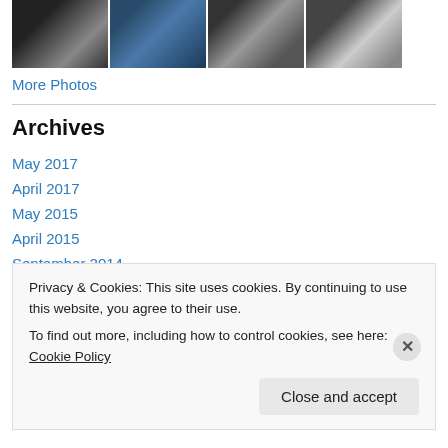[Figure (photo): Four thumbnail photos of dogs in black and white / blue tones]
More Photos
Archives
May 2017
April 2017
May 2015
April 2015
September 2014
July 2014
Privacy & Cookies: This site uses cookies. By continuing to use this website, you agree to their use.
To find out more, including how to control cookies, see here: Cookie Policy